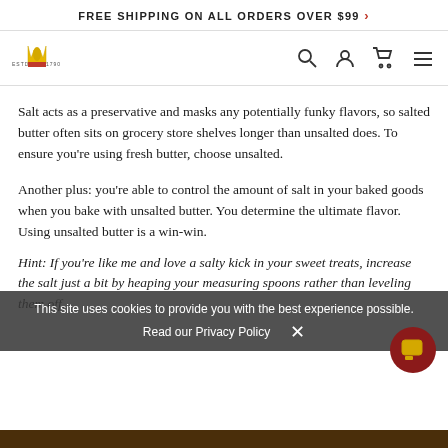FREE SHIPPING ON ALL ORDERS OVER $99 >
[Figure (logo): King Arthur Baking Company logo with crown and wheat emblem, ESTD 1790]
Salt acts as a preservative and masks any potentially funky flavors, so salted butter often sits on grocery store shelves longer than unsalted does. To ensure you're using fresh butter, choose unsalted.
Another plus: you're able to control the amount of salt in your baked goods when you bake with unsalted butter. You determine the ultimate flavor. Using unsalted butter is a win-win.
Hint: If you're like me and love a salty kick in your sweet treats, increase the salt just a bit by heaping your measuring spoons rather than leveling them off.
This site uses cookies to provide you with the best experience possible.
Read our Privacy Policy